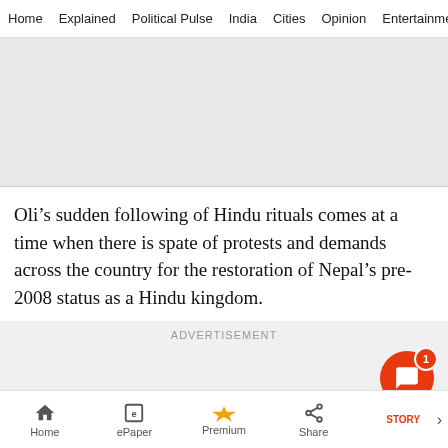Home  Explained  Political Pulse  India  Cities  Opinion  Entertainment
[Figure (photo): Grey placeholder image area]
Oli’s sudden following of Hindu rituals comes at a time when there is spate of protests and demands across the country for the restoration of Nepal’s pre-2008 status as a Hindu kingdom.
ADVERTISEMENT
Home  ePaper  Premium  Share  STORY